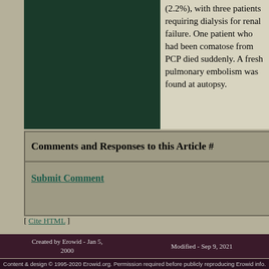[Figure (photo): Dark green/black rectangular image, appears to be a cropped photo taking up the left portion of the top content area]
(2.2%), with three patients requiring dialysis for renal failure. One patient who had been comatose from PCP died suddenly. A fresh pulmonary embolism was found at autopsy.
Comments and Responses to this Article #
Submit Comment
[ Cite HTML ]
[ back to references ]
Created by Erowid - Jan 5, 2000   Modified - Sep 9, 2021
Content & design © 1995-2020 Erowid.org. Permission required before publicly reproducing Erowid info.